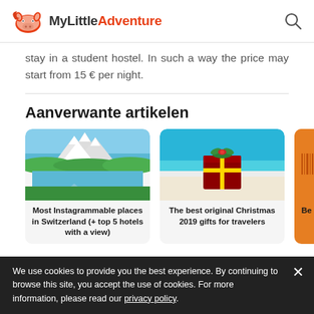MyLittleAdventure
stay in a student hostel. In such a way the price may start from 15 € per night.
Aanverwante artikelen
[Figure (photo): Mountain landscape with lake reflection in Switzerland]
Most Instagrammable places in Switzerland (+ top 5 hotels with a view)
[Figure (photo): Christmas gift on a snowy beach with turquoise sea]
The best original Christmas 2019 gifts for travelers
[Figure (photo): Partially visible orange card/object]
Be pl
We use cookies to provide you the best experience. By continuing to browse this site, you accept the use of cookies. For more information, please read our privacy policy.